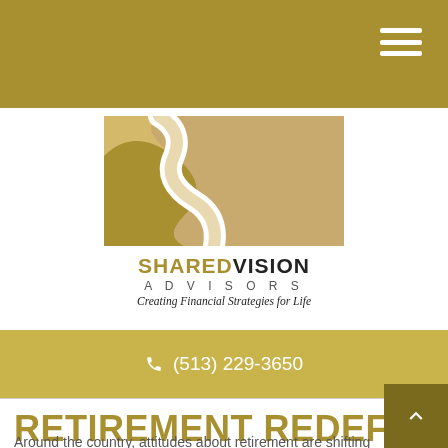Navigation bar with hamburger menu
[Figure (logo): Shared Vision Advisors logo: gold and tan abstract winding path graphic above the text 'SHAREDVISION ADVISORS Creating Financial Strategies for Life']
(513) 229-3650
RETIREMENT REDEFIN…
Around the country, attitudes about retirement are shifting